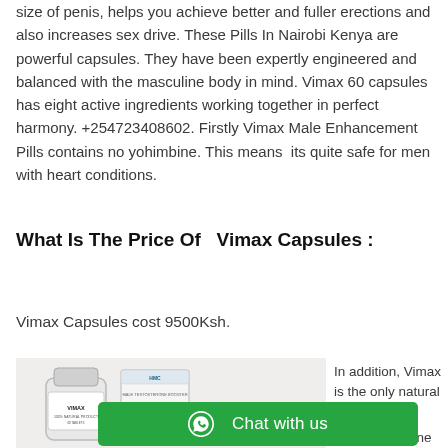size of penis, helps you achieve better and fuller erections and also increases sex drive. These Pills In Nairobi Kenya are powerful capsules. They have been expertly engineered and balanced with the masculine body in mind. Vimax 60 capsules has eight active ingredients working together in perfect harmony. +254723408602. Firstly Vimax Male Enhancement Pills contains no yohimbine. This means its quite safe for men with heart conditions.
What Is The Price Of  Vimax Capsules :
Vimax Capsules cost 9500Ksh.
[Figure (photo): Vimax herbal supplement product photo showing bottle and box]
In addition, Vimax is the only natural male
contains Inosine